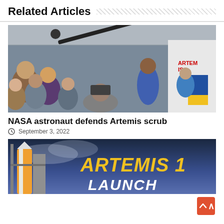Related Articles
[Figure (photo): NASA astronaut in blue flight suit speaking to a crowd of journalists and visitors in what appears to be a NASA facility, with an Artemis rocket model visible on the right side.]
NASA astronaut defends Artemis scrub
September 3, 2022
[Figure (photo): Artemis 1 rocket on launch pad with dramatic sky background, with bold gold text reading 'ARTEMIS 1' and 'LAUNCH'.]